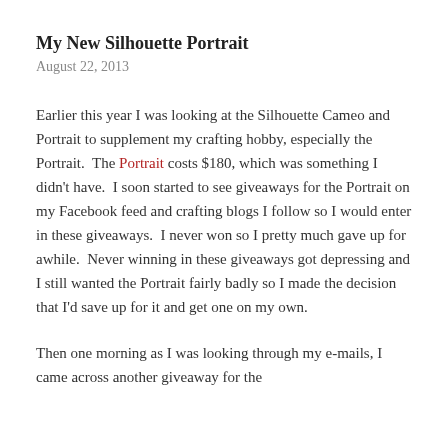My New Silhouette Portrait
August 22, 2013
Earlier this year I was looking at the Silhouette Cameo and Portrait to supplement my crafting hobby, especially the Portrait. The Portrait costs $180, which was something I didn't have. I soon started to see giveaways for the Portrait on my Facebook feed and crafting blogs I follow so I would enter in these giveaways. I never won so I pretty much gave up for awhile. Never winning in these giveaways got depressing and I still wanted the Portrait fairly badly so I made the decision that I'd save up for it and get one on my own.
Then one morning as I was looking through my e-mails, I came across another giveaway for the